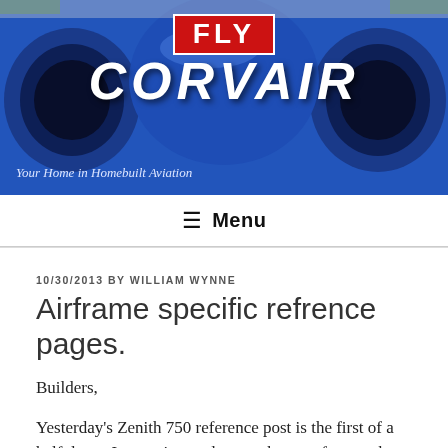[Figure (photo): Blue homebuilt aircraft front view with two circular intakes/cowlings. Overlay text shows 'FLY' in red box and 'CORVAIR' in large italic white letters. Tagline 'Your Home in Homebuilt Aviation' at bottom left.]
≡ Menu
10/30/2013 BY WILLIAM WYNNE
Airframe specific refrence pages.
Builders,
Yesterday's Zenith 750 reference post is the first of a half dozen I am going to do over the next few weeks.  The others will probably